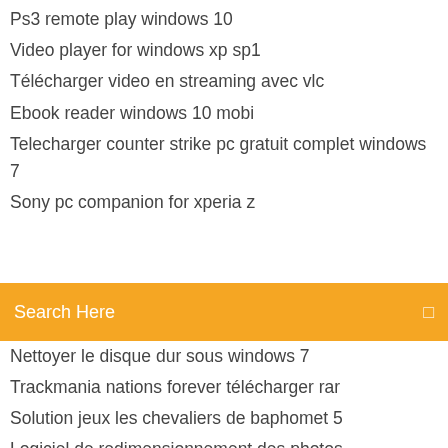Comment avoir black ops 3 gratuit sur pc
Ps3 remote play windows 10
Video player for windows xp sp1
Télécharger video en streaming avec vlc
Ebook reader windows 10 mobi
Telecharger counter strike pc gratuit complet windows 7
Sony pc companion for xperia z
[Figure (other): Orange search bar with text 'Search Here' and a search icon on the right]
Nettoyer le disque dur sous windows 7
Trackmania nations forever télécharger rar
Solution jeux les chevaliers de baphomet 5
Logiciel de redimensionnement des photos
How to install gta san andreas car mods on android
Microsoft office pro plus 2020 keygen
Ti connect ce windows vista
Line for windows 7 64 bit
Modifier icone menu démarrer windows 10
Easeus data recovery wizard gratuit 12.9.1
Comment avoir black ops 3 gratuit sur pc